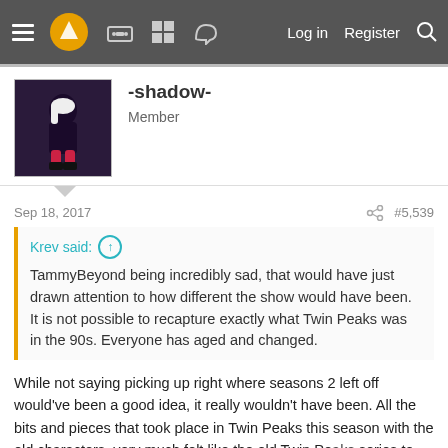Navigation bar with logo, icons, Log in, Register, Search
[Figure (screenshot): User avatar for -shadow-]
-shadow-
Member
Sep 18, 2017   #5,539
Krev said: ↑

TammyBeyond being incredibly sad, that would have just drawn attention to how different the show would have been. It is not possible to recapture exactly what Twin Peaks was in the 90s. Everyone has aged and changed.
While not saying picking up right where seasons 2 left off would've been a good idea, it really wouldn't have been. All the bits and pieces that took place in Twin Peaks this season with the old characters, very much felt like the old Twin Peaks series to me. The Double R dinner with Norma and Shelly. Doctor Jacoby going completely mental in those speeches, the mystery in the woods of where Bobby used to play with his father, even something as simple as the ringing sounds in